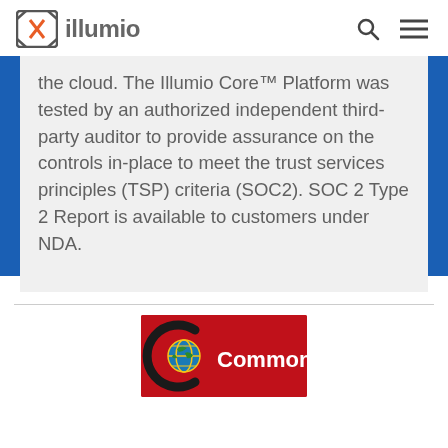[Figure (logo): Illumio logo: orange bracket-X icon followed by 'illumio' text in gray]
the cloud. The Illumio Core™ Platform was tested by an authorized independent third-party auditor to provide assurance on the controls in-place to meet the trust services principles (TSP) criteria (SOC2). SOC 2 Type 2 Report is available to customers under NDA.
[Figure (logo): Common Criteria logo on red background with globe/arc icon and white 'Common' text]